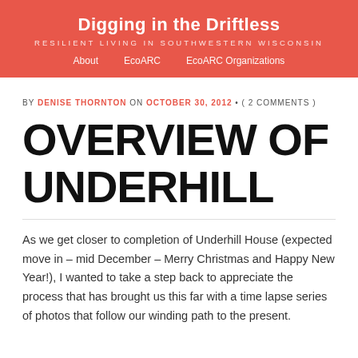Digging in the Driftless
RESILIENT LIVING IN SOUTHWESTERN WISCONSIN
About   EcoARC   EcoARC Organizations
BY DENISE THORNTON ON OCTOBER 30, 2012 • ( 2 COMMENTS )
OVERVIEW OF UNDERHILL
As we get closer to completion of Underhill House (expected move in – mid December – Merry Christmas and Happy New Year!), I wanted to take a step back to appreciate the process that has brought us this far with a time lapse series of photos that follow our winding path to the present.